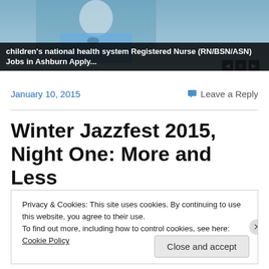[Figure (photo): Medical/nursing advertisement banner showing a nurse in blue scrubs with a stethoscope, with a dark overlay label reading about children's national health system Registered Nurse jobs]
children's national health system Registered Nurse (RN/BSN/ASN) Jobs in Ashburn Apply...
January 10, 2015
Leave a Reply
Winter Jazzfest 2015, Night One: More and Less
Privacy & Cookies: This site uses cookies. By continuing to use this website, you agree to their use.
To find out more, including how to control cookies, see here: Cookie Policy
Close and accept